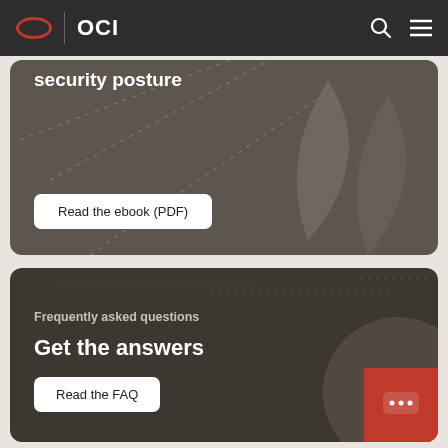OCI
security posture
Read the ebook (PDF)
Frequently asked questions
Get the answers
Read the FAQ